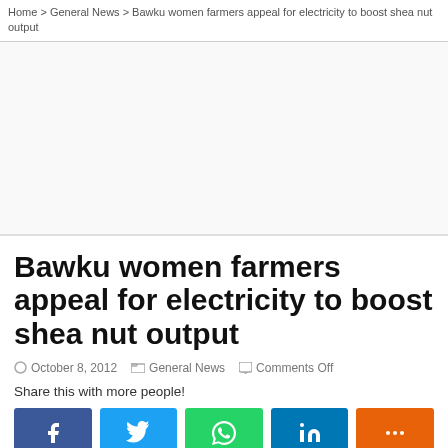Home > General News > Bawku women farmers appeal for electricity to boost shea nut output
[Figure (other): Advertisement banner area (blank/white space)]
Bawku women farmers appeal for electricity to boost shea nut output
October 8, 2012   General News   Comments Off
Share this with more people!
[Figure (infographic): Social share buttons: Facebook, Twitter, WhatsApp, LinkedIn, More (orange)]